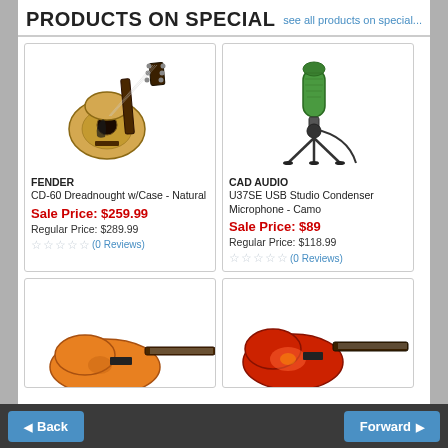PRODUCTS ON SPECIAL
see all products on special...
[Figure (photo): Fender CD-60 Dreadnought acoustic guitar with natural finish]
FENDER
CD-60 Dreadnought w/Case - Natural
Sale Price: $259.99
Regular Price: $289.99
(0 Reviews)
[Figure (photo): CAD Audio U37SE USB Studio Condenser Microphone in Camo color on tripod stand]
CAD AUDIO
U37SE USB Studio Condenser Microphone - Camo
Sale Price: $89
Regular Price: $118.99
(0 Reviews)
[Figure (photo): Yellow/orange electric guitar, partially visible at bottom of page]
[Figure (photo): Red sunburst electric guitar, partially visible at bottom of page]
Back   Forward